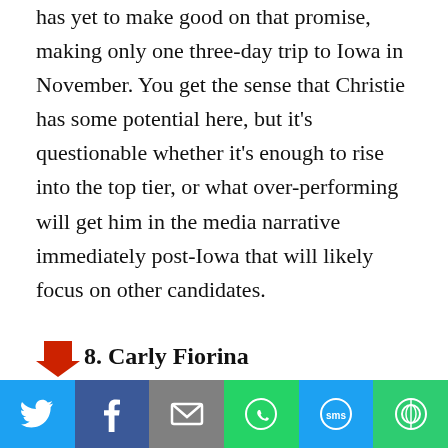has yet to make good on that promise, making only one three-day trip to Iowa in November. You get the sense that Christie has some potential here, but it's questionable whether it's enough to rise into the top tier, or what over-performing will get him in the media narrative immediately post-Iowa that will likely focus on other candidates.
8. Carly Fiorina
Her lack of a national or Iowa campaign infrastructure doomed her from early on, squandering any momentum she gained out of the debates. You'd think she'd have an
[Figure (infographic): Social media sharing bar with Twitter, Facebook, Email, WhatsApp, SMS, and More buttons]